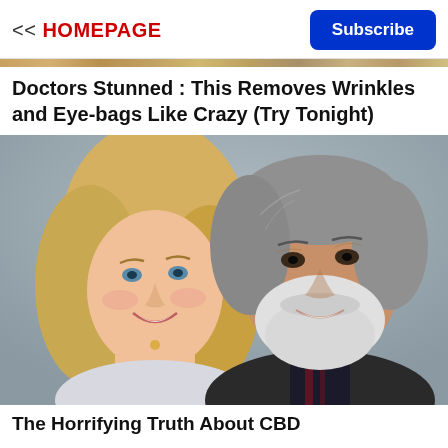<< HOMEPAGE | Subscribe
Doctors Stunned : This Removes Wrinkles and Eye-bags Like Crazy (Try Tonight)
[Figure (photo): A smiling blonde woman and an older man with a white beard posing together for a photo, both dressed in semi-formal attire.]
The Horrifying Truth About CBD